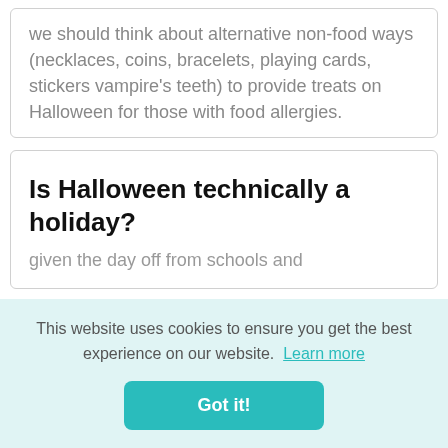we should think about alternative non-food ways (necklaces, coins, bracelets, playing cards, stickers vampire's teeth) to provide treats on Halloween for those with food allergies.
Is Halloween technically a holiday?
given the day off from schools and
This website uses cookies to ensure you get the best experience on our website. Learn more
Got it!